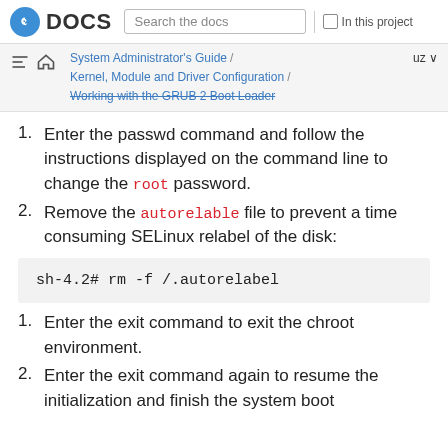Fedora DOCS — Search the docs | In this project
System Administrator's Guide / Kernel, Module and Driver Configuration / Working with the GRUB 2 Boot Loader | uz
Enter the passwd command and follow the instructions displayed on the command line to change the root password.
Remove the autorelable file to prevent a time consuming SELinux relabel of the disk:
sh-4.2# rm -f /.autorelabel
Enter the exit command to exit the chroot environment.
Enter the exit command again to resume the initialization and finish the system boot